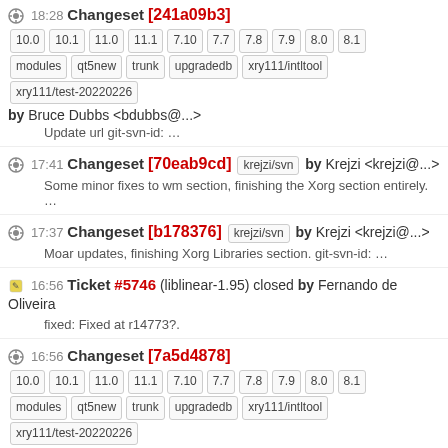18:28 Changeset [241a09b3] 10.0 10.1 11.0 11.1 7.10 7.7 7.8 7.9 8.0 8.1 modules qt5new trunk upgradedb xry111/intltool xry111/test-20220226 by Bruce Dubbs <bdubbs@...>
Update url git-svn-id: ...
17:41 Changeset [70eab9cd] krejzi/svn by Krejzi <krejzi@...>
Some minor fixes to wm section, finishing the Xorg section entirely. ...
17:37 Changeset [b178376] krejzi/svn by Krejzi <krejzi@...>
Moar updates, finishing Xorg Libraries section. git-svn-id: ...
16:56 Ticket #5746 (liblinear-1.95) closed by Fernando de Oliveira
fixed: Fixed at r14773?.
16:56 Changeset [7a5d4878] 10.0 10.1 11.0 11.1 7.10 7.7 7.8 7.9 8.0 8.1 modules qt5new trunk upgradedb xry111/intltool xry111/test-20220226 by Fernando de Oliveira <fernando@...>
Update to liblinear-1.95. git-svn-id: